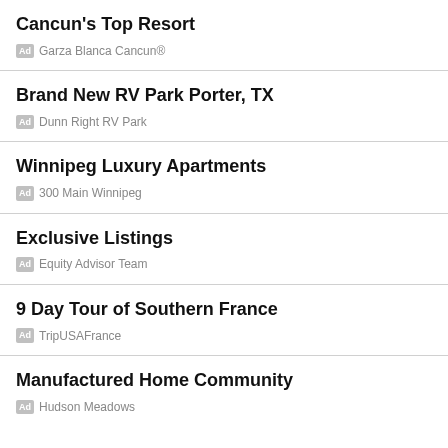Cancun's Top Resort
Ad  Garza Blanca Cancun®
Brand New RV Park Porter, TX
Ad  Dunn Right RV Park
Winnipeg Luxury Apartments
Ad  300 Main Winnipeg
Exclusive Listings
Ad  Equity Advisor Team
9 Day Tour of Southern France
Ad  TripUSAFrance
Manufactured Home Community
Ad  Hudson Meadows